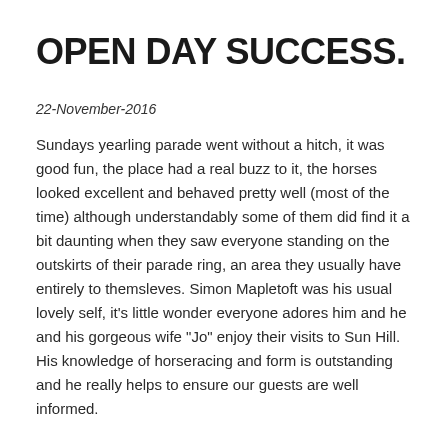OPEN DAY SUCCESS.
22-November-2016
Sundays yearling parade went without a hitch, it was good fun, the place had a real buzz to it, the horses looked excellent and behaved pretty well (most of the time) although understandably some of them did find it a bit daunting when they saw everyone standing on the outskirts of their parade ring, an area they usually have entirely to themsleves. Simon Mapletoft was his usual lovely self, it's little wonder everyone adores him and he and his gorgeous wife "Jo" enjoy their visits to Sun Hill.  His knowledge of horseracing and form is outstanding and he really helps to ensure our guests are well informed.